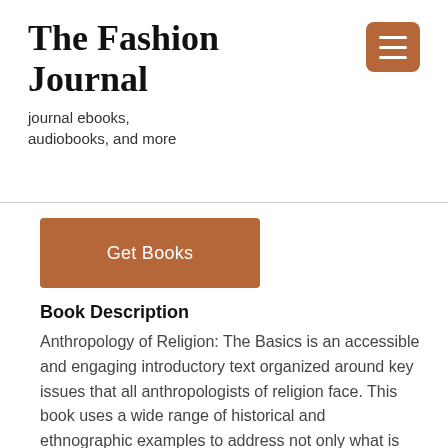The Fashion Journal
journal ebooks, audiobooks, and more
[Figure (other): Hamburger menu button icon with three horizontal white lines on brown/terracotta background]
[Figure (other): Get Books button - terracotta/brown colored rectangular button with white text]
Book Description
Anthropology of Religion: The Basics is an accessible and engaging introductory text organized around key issues that all anthropologists of religion face. This book uses a wide range of historical and ethnographic examples to address not only what is studied by anthropologists of religion, but how such studies are approached. It addresses questions such as: How do human agents interact with gods and spirits? What is the nature of doing religious